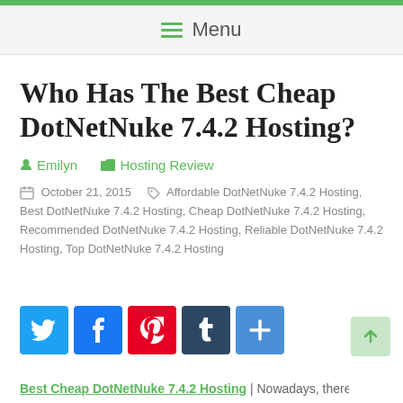Menu
Who Has The Best Cheap DotNetNuke 7.4.2 Hosting?
Emilyn   Hosting Review
October 21, 2015   Affordable DotNetNuke 7.4.2 Hosting, Best DotNetNuke 7.4.2 Hosting, Cheap DotNetNuke 7.4.2 Hosting, Recommended DotNetNuke 7.4.2 Hosting, Reliable DotNetNuke 7.4.2 Hosting, Top DotNetNuke 7.4.2 Hosting
[Figure (infographic): Social sharing buttons: Twitter, Facebook, Pinterest, Tumblr, More. Scroll-to-top button on right.]
Best Cheap DotNetNuke 7.4.2 Hosting | Nowadays, there's